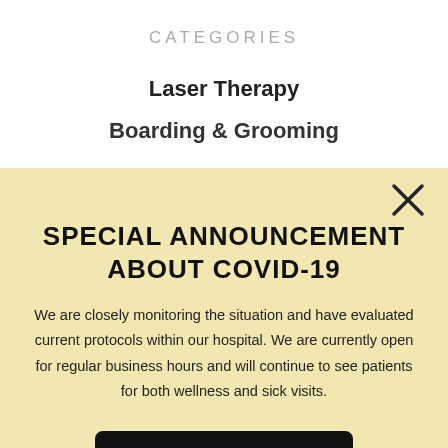CATEGORIES
Laser Therapy
Boarding & Grooming
SPECIAL ANNOUNCEMENT ABOUT COVID-19
We are closely monitoring the situation and have evaluated current protocols within our hospital. We are currently open for regular business hours and will continue to see patients for both wellness and sick visits.
READ MORE